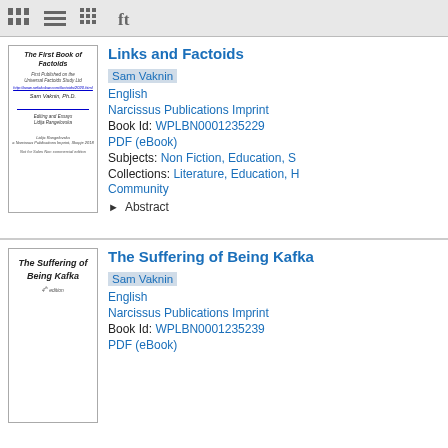[Figure (screenshot): Toolbar with view icons (bar chart, list, grid, filter)]
Links and Factoids
Sam Vaknin
English
Narcissus Publications Imprint
Book Id: WPLBN0001235229
PDF (eBook)
Subjects: Non Fiction, Education, S
Collections: Literature, Education, H Community
▶ Abstract
[Figure (illustration): Book cover thumbnail for 'The First Book of Factoids' by Sam Vaknin, Ph.D.]
The Suffering of Being Kafka
Sam Vaknin
English
Narcissus Publications Imprint
Book Id: WPLBN0001235239
PDF (eBook)
[Figure (illustration): Book cover thumbnail for 'The Suffering of Being Kafka']